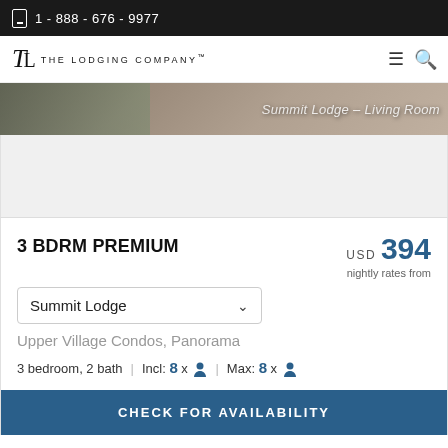1 - 888 - 676 - 9977
[Figure (logo): The Lodging Company logo with TL monogram and navigation icons]
[Figure (photo): Summit Lodge Living Room photo strip with overlaid text]
3 BDRM PREMIUM
USD 394 nightly rates from
Summit Lodge (dropdown)
Upper Village Condos, Panorama
3 bedroom, 2 bath | Incl: 8 x person | Max: 8 x person
CHECK FOR AVAILABILITY